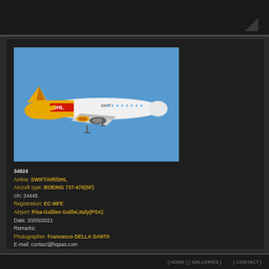[Figure (photo): Boeing 737-476(SF) aircraft in SWIFTAIR/DHL livery — yellow tail and engine nacelles with DHL logo on fuselage, 'swift' branding on white forward section, photographed in flight against a clear blue sky.]
34924
Airline: SWIFTAIR/DHL
Aircraft type: BOEING 737-476(SF)
c/n: 24445
Registration: EC-MFE
Airport: Pisa-Galileo Galilei,Italy(PSA)
Date: 20/05/2021
Remarks:
Photographer: Francesco DELLA SANTA
E-mail: contact@hqaas.com

Category: BOEING 737 CLASSIC Hits: 101
[ HOME ] [ GALLERIES ]     [ CONTACT ]